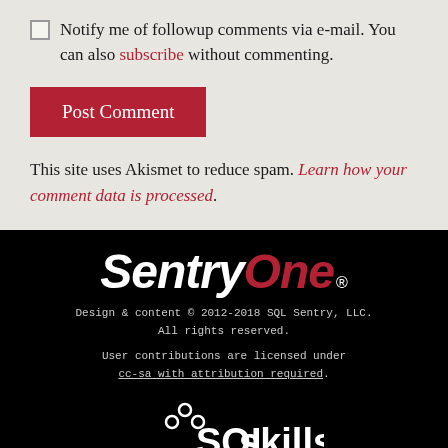Notify me of followup comments via e-mail. You can also subscribe without commenting.
Post Comment
This site uses Akismet to reduce spam. Learn how your comment data is processed.
[Figure (logo): SentryOne logo in white and red italic bold text on black background with registered trademark symbol]
Design & content © 2012-2018 SQL Sentry, LLC. All rights reserved. User contributions are licensed under cc-sa with attribution required.
[Figure (logo): SQLskills logo with white text and database circle icons, tagline: immerse yourself in sql server]